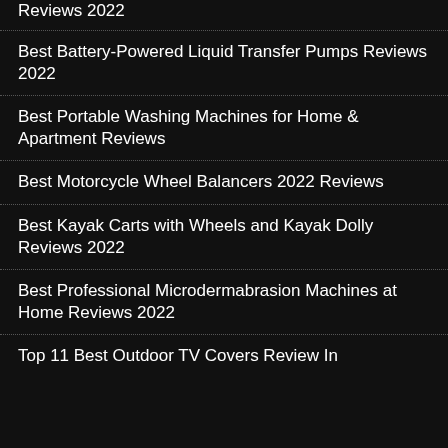Reviews 2022
Best Battery-Powered Liquid Transfer Pumps Reviews 2022
Best Portable Washing Machines for Home & Apartment Reviews
Best Motorcycle Wheel Balancers 2022 Reviews
Best Kayak Carts with Wheels and Kayak Dolly Reviews 2022
Best Professional Microdermabrasion Machines at Home Reviews 2022
Top 11 Best Outdoor TV Covers Review In